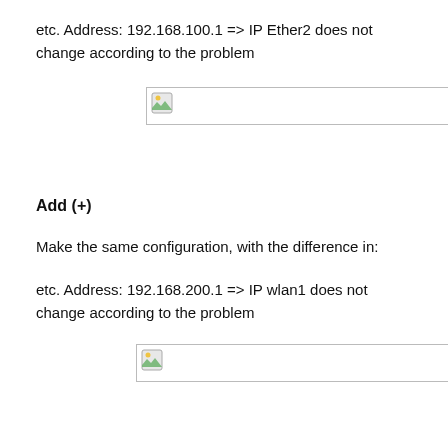etc. Address: 192.168.100.1 => IP Ether2 does not change according to the problem
[Figure (screenshot): Placeholder image with broken image icon on white background with border]
Add (+)
Make the same configuration, with the difference in:
etc. Address: 192.168.200.1 => IP wlan1 does not change according to the problem
[Figure (screenshot): Placeholder image with broken image icon on white background with border]